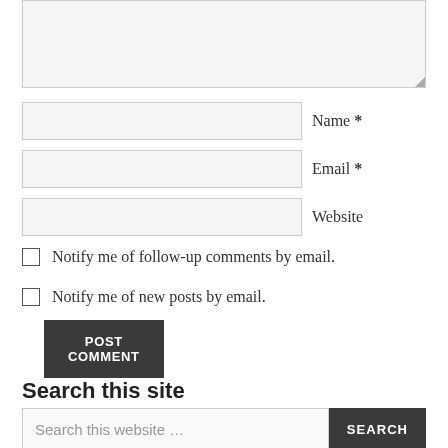[Figure (screenshot): Textarea input box (comment field), partially visible at top of page, with resize handle in bottom-right corner]
Name *
Email *
Website
Notify me of follow-up comments by email.
Notify me of new posts by email.
POST COMMENT
Search this site
Search this website …